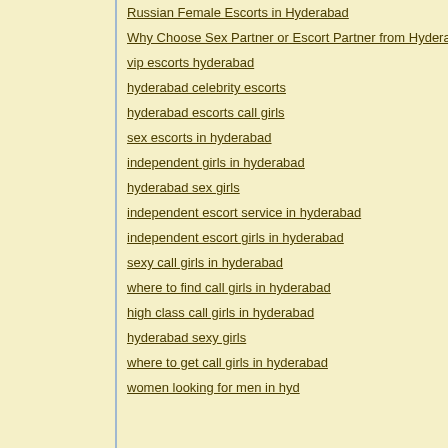Russian Female Escorts in Hyderabad
Why Choose Sex Partner or Escort Partner from Hyderabad On...
vip escorts hyderabad
hyderabad celebrity escorts
hyderabad escorts call girls
sex escorts in hyderabad
independent girls in hyderabad
hyderabad sex girls
independent escort service in hyderabad
independent escort girls in hyderabad
sexy call girls in hyderabad
where to find call girls in hyderabad
high class call girls in hyderabad
hyderabad sexy girls
where to get call girls in hyderabad
women looking for men in hyd